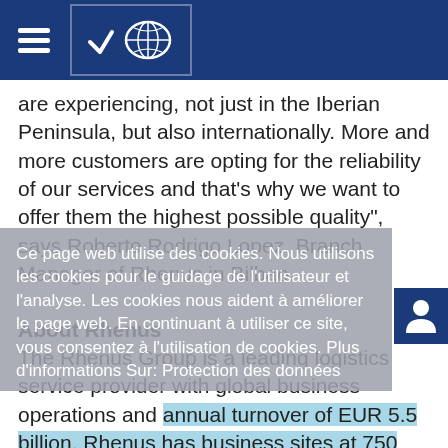Rhenus website header with hamburger menu and world map logo
are experiencing, not just in the Iberian Peninsula, but also internationally. More and more customers are opting for the reliability of our services and that's why we want to offer them the highest possible quality", says Roberto Rodrigo Lopez, Branch Manager of Rhenus in Bilbao.
Ce page web utilise des cookies. Nous utilisons les cookies pour le guidage de l'utilisateur et l'analyse. Les cookies nous aident à améliorer le page web. En continuant à utiliser ce site, vous consentez à l'utilisation de cookies. Plus d'informations Sur: Protection des données
About Rhenus
The Rhenus Group is a leading logistics service provider with global business operations and annual turnover of EUR 5.5 billion. Rhenus has business sites at 750 locations worldwide and employs 33,000 people. The Rhenus Group